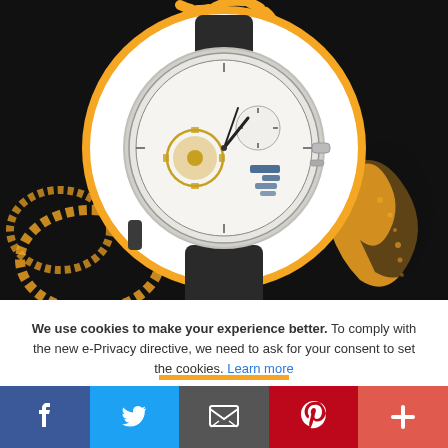[Figure (photo): A luxury skeleton watch with visible mechanical movement, black leather strap, silver case, shown against a black background with orange chain/tribal decorative elements and circular orange-bordered frame.]
We use cookies to make your experience better. To comply with the new e-Privacy directive, we need to ask for your consent to set the cookies. Learn more
[Figure (infographic): Social media sharing bar with five buttons: Facebook (blue), Twitter (light blue), Email (gray), Pinterest (red), and Plus/More (salmon red).]